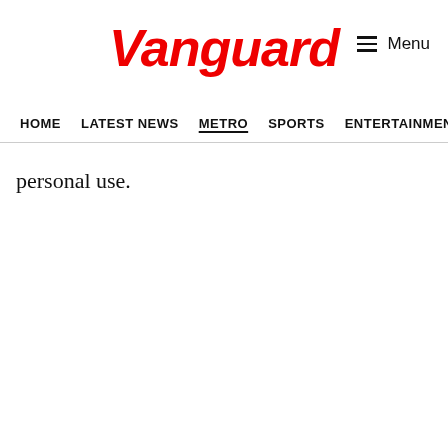Vanguard
HOME  LATEST NEWS  METRO  SPORTS  ENTERTAINMENT  VIDEOS
personal use.